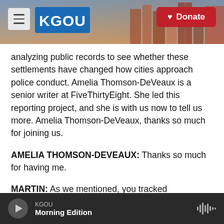[Figure (screenshot): KGOU radio station website header with logo, menu button, city skyline background image, and red Donate button]
analyzing public records to see whether these settlements have changed how cities approach police conduct. Amelia Thomson-DeVeaux is a senior writer at FiveThirtyEight. She led this reporting project, and she is with us now to tell us more. Amelia Thomson-DeVeaux, thanks so much for joining us.
AMELIA THOMSON-DEVEAUX: Thanks so much for having me.
MARTIN: As we mentioned, you tracked settlements with police around the country. There
KGOU  Morning Edition